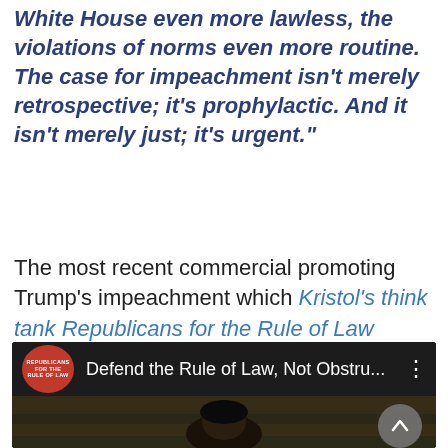White House even more lawless, the violations of norms even more routine. The case for impeachment isn't merely retrospective; it's prophylactic. And it isn't merely just; it's urgent."
The most recent commercial promoting Trump's impeachment which Kristol's think tank Republicans for the Rule of Law released raised the argument that since republicans supported Nixon's impeachment in 1973, republicans should impeach Trump today.
[Figure (screenshot): YouTube video thumbnail showing 'Defend the Rule of Law, Not Obstru...' with Republicans for the Rule of Law logo (red circle) on dark background, and an up-arrow navigation button on the right.]